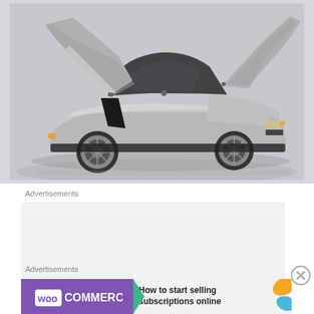[Figure (photo): DeLorean DMC-12 sports car with gull-wing doors open, photographed against a light gray/white studio background. The stainless steel body is clearly visible.]
Advertisements
Business in the front
Advertisements
[Figure (logo): WooCommerce advertisement banner: purple background with WooCommerce logo (woo in box + COMMERCE text), teal arrow shape, text 'How to start selling subscriptions online', orange leaf shapes on right.]